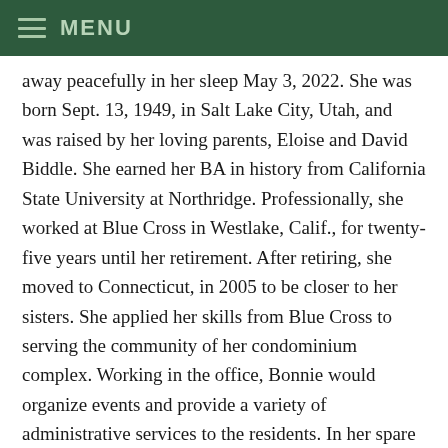MENU
away peacefully in her sleep May 3, 2022. She was born Sept. 13, 1949, in Salt Lake City, Utah, and was raised by her loving parents, Eloise and David Biddle. She earned her BA in history from California State University at Northridge. Professionally, she worked at Blue Cross in Westlake, Calif., for twenty-five years until her retirement. After retiring, she moved to Connecticut, in 2005 to be closer to her sisters. She applied her skills from Blue Cross to serving the community of her condominium complex. Working in the office, Bonnie would organize events and provide a variety of administrative services to the residents. In her spare time, Bonnie had an affinity for all things creative. She loved the theater and would often attend musicals at the